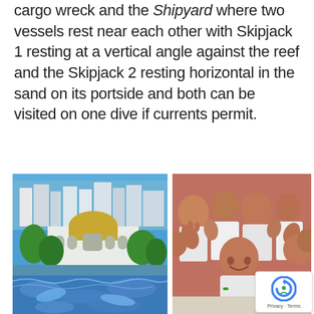cargo wreck and the Shipyard where two vessels rest near each other with Skipjack 1 resting at a vertical angle against the reef and the Skipjack 2 resting horizontal in the sand on its portside and both can be visited on one dive if currents permit.
[Figure (photo): Aerial view of a mosque with a golden dome surrounded by green trees and city buildings with ocean in the background (Maldives cityscape)]
[Figure (photo): Underwater scene with dolphins or fish swimming in blue water]
[Figure (photo): Group of smiling children in school uniforms waving at the camera]